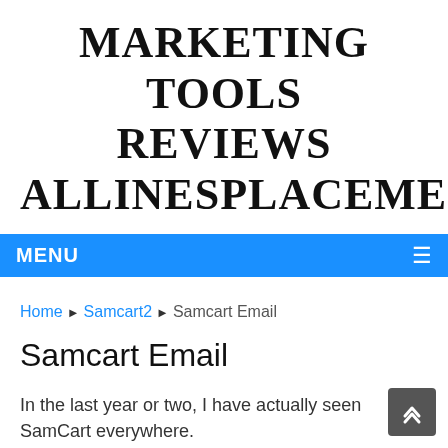MARKETING TOOLS REVIEWS ALLINESPLACEMENTS
MENU
Home ▶ Samcart2 ▶ Samcart Email
Samcart Email
In the last year or two, I have actually seen SamCart everywhere.
As a web business owner, I pay specifically close attention to the shopping carts people utilize, and